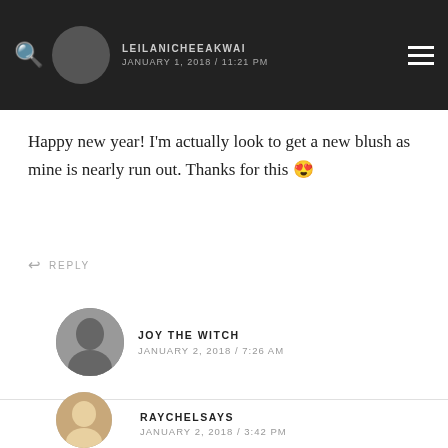LEILANICHEEAKWAI / JANUARY 1, 2018 / 11:21 PM
Happy new year! I'm actually look to get a new blush as mine is nearly run out. Thanks for this 😁
REPLY
JOY THE WITCH / JANUARY 2, 2018 / 7:26 AM
Thank you 😊 yay you should definitely try one of them, colourpop and nyx has a better variety of shades
REPLY
RAYCHELSAYS / JANUARY 2, 2018 / 3:42 PM